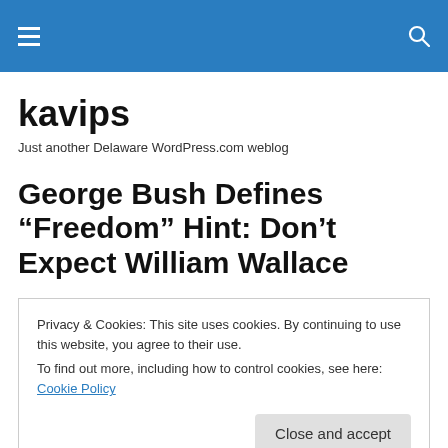kavips
Just another Delaware WordPress.com weblog
George Bush Defines “Freedom” Hint: Don’t Expect William Wallace
Privacy & Cookies: This site uses cookies. By continuing to use this website, you agree to their use.
To find out more, including how to control cookies, see here: Cookie Policy
Close and accept
States, to blowing us up……..